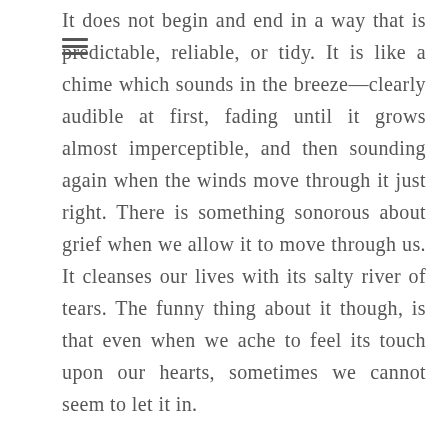It does not begin and end in a way that is predictable, reliable, or tidy. It is like a chime which sounds in the breeze—clearly audible at first, fading until it grows almost imperceptible, and then sounding again when the winds move through it just right. There is something sonorous about grief when we allow it to move through us. It cleanses our lives with its salty river of tears. The funny thing about it though, is that even when we ache to feel its touch upon our hearts, sometimes we cannot seem to let it in.

Suppressed grief takes many forms. We